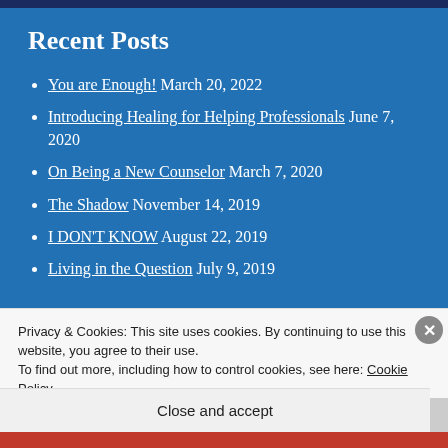Recent Posts
You are Enough! March 20, 2022
Introducing Healing for Helping Professionals June 7, 2020
On Being a New Counselor March 7, 2020
The Shadow November 14, 2019
I DON'T KNOW August 22, 2019
Living in the Question July 9, 2019
Privacy & Cookies: This site uses cookies. By continuing to use this website, you agree to their use.
To find out more, including how to control cookies, see here: Cookie Policy
Close and accept